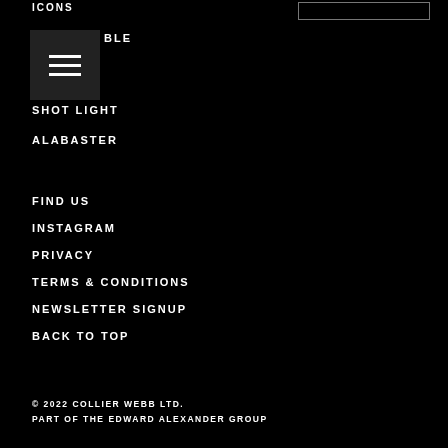ICONS
[Figure (screenshot): Navigation menu icon with three horizontal white lines on dark background]
PORTABLE
SHOT LIGHT
ALABASTER
FIND US
INSTAGRAM
PRIVACY
TERMS & CONDITIONS
NEWSLETTER SIGNUP
BACK TO TOP
© 2022 COLLIER WEBB LTD.
PART OF THE EDWARD ALEXANDER GROUP